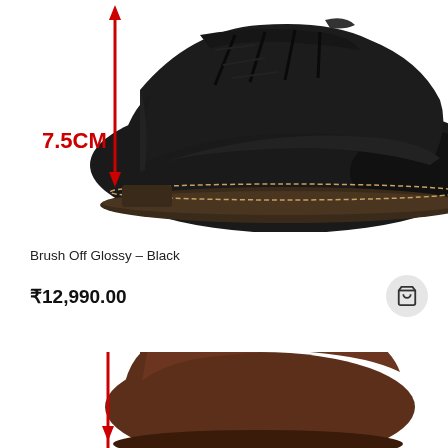[Figure (photo): Black leather dress shoe (chukka/derby style) with laces, shown at an angle. A red double-headed arrow on the left side of the shoe with label '7.5CM' in bold red text indicates the height increase provided by the shoe.]
Brush Off Glossy – Black
₹12,990.00
[Figure (photo): Brown leather dress shoe partially visible at the bottom of the page with a red arrow indicating height measurement, similar style to the black shoe above.]